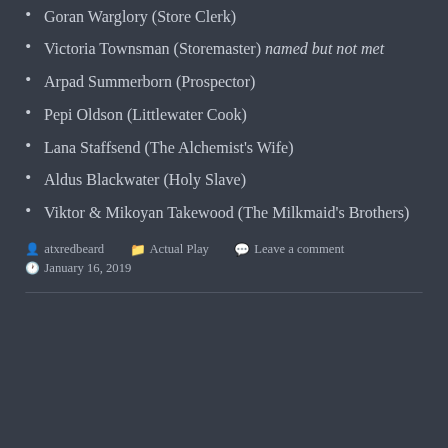Goran Warglory (Store Clerk)
Victoria Townsman (Storemaster) named but not met
Arpad Summerborn (Prospector)
Pepi Oldson (Littlewater Cook)
Lana Staffsend (The Alchemist's Wife)
Aldus Blackwater (Holy Slave)
Viktor & Mikoyan Takewood (The Milkmaid's Brothers)
atxredbeard  Actual Play  Leave a comment  January 16, 2019